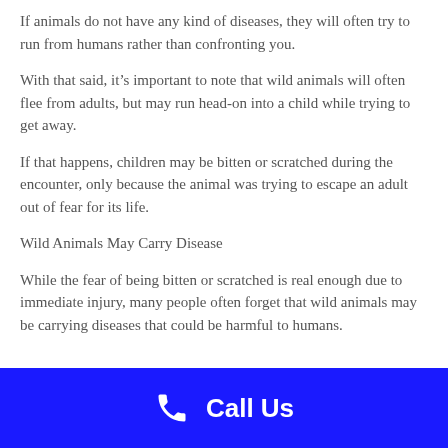If animals do not have any kind of diseases, they will often try to run from humans rather than confronting you.
With that said, it’s important to note that wild animals will often flee from adults, but may run head-on into a child while trying to get away.
If that happens, children may be bitten or scratched during the encounter, only because the animal was trying to escape an adult out of fear for its life.
Wild Animals May Carry Disease
While the fear of being bitten or scratched is real enough due to immediate injury, many people often forget that wild animals may be carrying diseases that could be harmful to humans.
Call Us